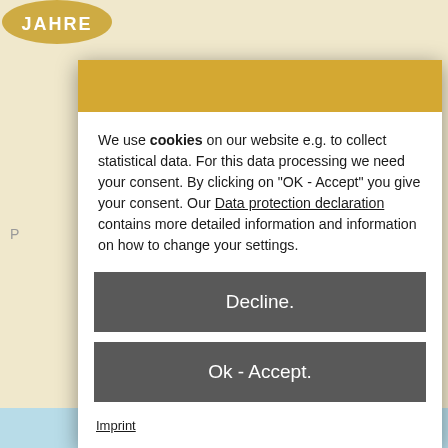[Figure (screenshot): Cookie consent modal dialog overlay on a website. The background shows a light beige/cream webpage with a partial logo (circular badge with 'JAHRE' text in gold) at the top-left corner. The modal has a gold/amber header bar, followed by white content area.]
We use cookies on our website e.g. to collect statistical data. For this data processing we need your consent. By clicking on "OK - Accept" you give your consent. Our Data protection declaration contains more detailed information and information on how to change your settings.
Decline.
Ok - Accept.
Imprint